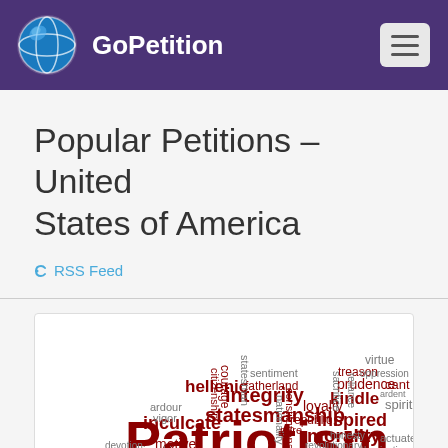GoPetition
Popular Petitions – United States of America
RSS Feed
[Figure (infographic): Word cloud featuring patriotism-related terms. The largest word is 'Patriotism' in dark red. Other words include statesmanship, integrity, inculcate, hellenic, morality, inspired, kindle, loyalty, republic, constitutional, nationality, courage, citizenship, fatherland, statesman, sentiment, prudence, treason, virtue, motive, philanthropy, devotion, ardour, vigor, disinterested, impassioned, politic, jacobin, pure, honesty, sacrifice, reliance, revolutionary, enthusiastic, actuate, fervour, stimulate, temper, attachment, and many more in various sizes and dark red/gray colors.]